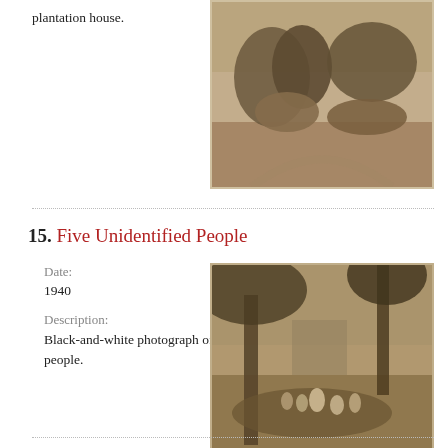plantation house.
[Figure (photo): Sepia-toned black-and-white photograph showing trees and what appears to be a plantation landscape with haystacks or shrubs.]
15. Five Unidentified People
Date:
1940
Description:
Black-and-white photograph of five people.
[Figure (photo): Sepia-toned black-and-white photograph of five people outdoors among trees, possibly in a garden or wooded area.]